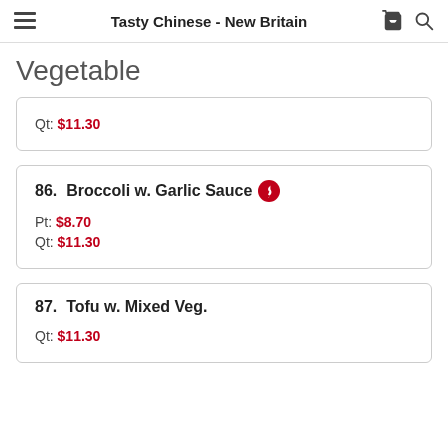Tasty Chinese - New Britain
Vegetable
Qt: $11.30
86. Broccoli w. Garlic Sauce
Pt: $8.70
Qt: $11.30
87. Tofu w. Mixed Veg.
Qt: $11.30